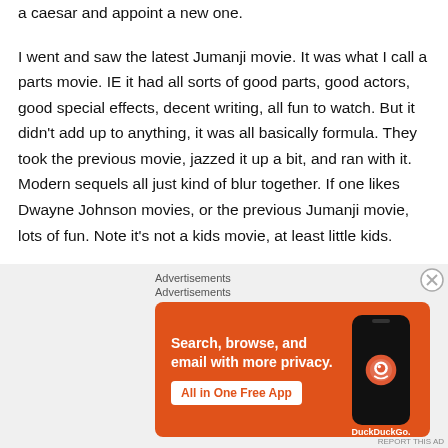a caesar and appoint a new one.
I went and saw the latest Jumanji movie. It was what I call a parts movie. IE it had all sorts of good parts, good actors, good special effects, decent writing, all fun to watch. But it didn't add up to anything, it was all basically formula. They took the previous movie, jazzed it up a bit, and ran with it. Modern sequels all just kind of blur together. If one likes Dwayne Johnson movies, or the previous Jumanji movie, lots of fun. Note it's not a kids movie, at least little kids.
Advertisements
Advertisements
[Figure (other): DuckDuckGo advertisement banner with orange background. Text reads: Search, browse, and email with more privacy. All in One Free App. Shows a smartphone with DuckDuckGo logo.]